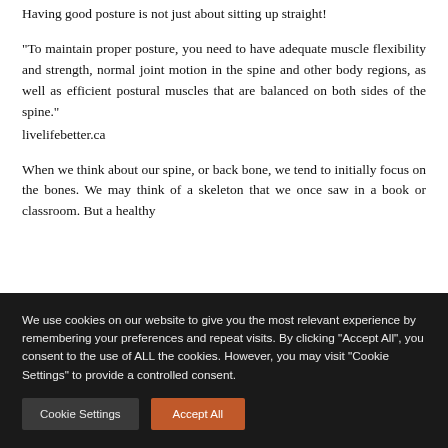Having good posture is not just about sitting up straight!
“To maintain proper posture, you need to have adequate muscle flexibility and strength, normal joint motion in the spine and other body regions, as well as efficient postural muscles that are balanced on both sides of the spine.” livelifebetter.ca
When we think about our spine, or back bone, we tend to initially focus on the bones. We may think of a skeleton that we once saw in a book or classroom. But a healthy
We use cookies on our website to give you the most relevant experience by remembering your preferences and repeat visits. By clicking “Accept All”, you consent to the use of ALL the cookies. However, you may visit “Cookie Settings” to provide a controlled consent.
Cookie Settings
Accept All